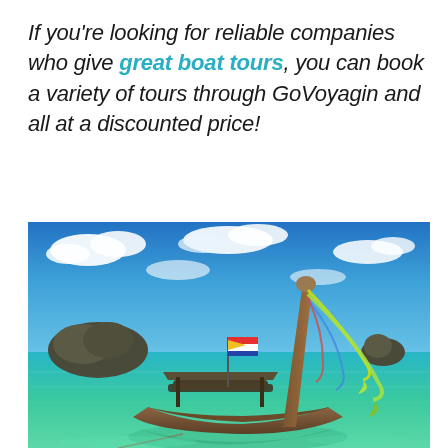If you're looking for reliable companies who give great boat tours, you can book a variety of tours through GoVoyagin and all at a discounted price!
[Figure (photo): A traditional Thai long-tail wooden boat moored in clear turquoise water near a tropical beach, with a Thai flag and yellow flag, colorful streamers hanging from a tall wooden prow, limestone islands in the background under a vivid blue sky with white clouds.]